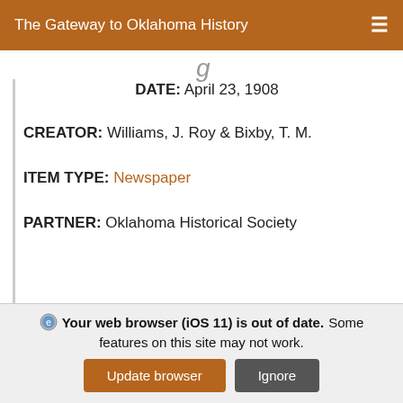The Gateway to Oklahoma History
DATE: April 23, 1908
CREATOR: Williams, J. Roy & Bixby, T. M.
ITEM TYPE: Newspaper
PARTNER: Oklahoma Historical Society
[Figure (photo): Thumbnail of a newspaper page in grayscale]
Lawton Constitution-Democrat (Lawton, Okla.), Vol. 6, No. 52, Ed. 1 Thursday, April 30, 1908
Weekly newspaper from Lawton, Oklahoma that
Your web browser (iOS 11) is out of date. Some features on this site may not work.